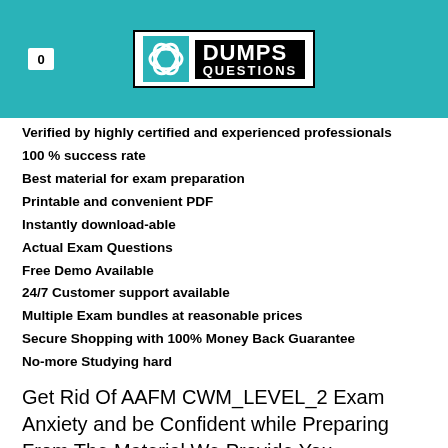[Figure (logo): DumpsQuestions logo with teal header bar and badge showing 0]
Verified by highly certified and experienced professionals
100 % success rate
Best material for exam preparation
Printable and convenient PDF
Instantly download-able
Actual Exam Questions
Free Demo Available
24/7 Customer support available
Multiple Exam bundles at reasonable prices
Secure Shopping with 100% Money Back Guarantee
No-more Studying hard
Get Rid Of AAFM CWM_LEVEL_2 Exam Anxiety and be Confident while Preparing From The Material We Provide You
Preparation of the AAFM CWM_LEVEL_2 takes too much time if you prepare from the material recommended by AAFM or uncertified third parties. Confusions and fear of